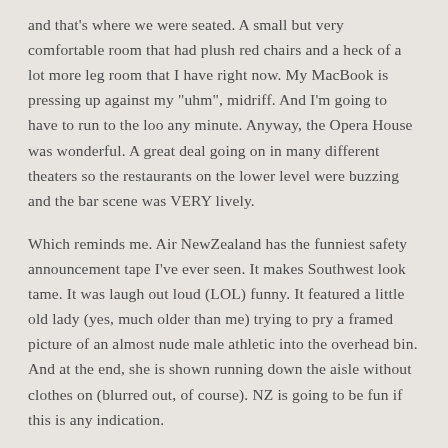and that's where we were seated. A small but very comfortable room that had plush red chairs and a heck of a lot more leg room that I have right now. My MacBook is pressing up against my "uhm", midriff. And I'm going to have to run to the loo any minute. Anyway, the Opera House was wonderful. A great deal going on in many different theaters so the restaurants on the lower level were buzzing and the bar scene was VERY lively.
Which reminds me. Air NewZealand has the funniest safety announcement tape I've ever seen. It makes Southwest look tame. It was laugh out loud (LOL) funny. It featured a little old lady (yes, much older than me) trying to pry a framed picture of an almost nude male athletic into the overhead bin. And at the end, she is shown running down the aisle without clothes on (blurred out, of course). NZ is going to be fun if this is any indication.
Yesterday we were busy cleaning the house, re-filling the